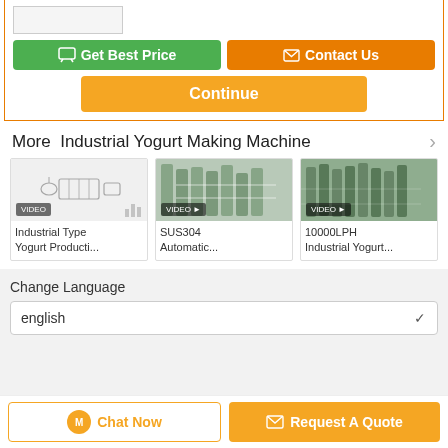[Figure (screenshot): Top UI section with Get Best Price (green button), Contact Us (orange button), a Continue (orange button), More Industrial Yogurt Making Machine section with 3 product cards each labeled VIDEO, and a Change Language dropdown set to english, followed by bottom bar with Chat Now and Request A Quote buttons.]
Get Best Price
Contact Us
Continue
More  Industrial Yogurt Making Machine
Industrial Type Yogurt Producti...
SUS304 Automatic...
10000LPH Industrial Yogurt...
Change Language
english
Chat Now
Request A Quote